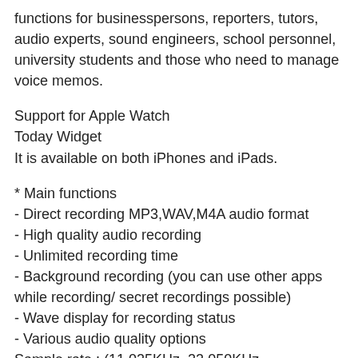functions for businesspersons, reporters, tutors, audio experts, sound engineers, school personnel, university students and those who need to manage voice memos.
Support for Apple Watch
Today Widget
It is available on both iPhones and iPads.
* Main functions
- Direct recording MP3,WAV,M4A audio format
- High quality audio recording
- Unlimited recording time
- Background recording (you can use other apps while recording/ secret recordings possible)
- Wave display for recording status
- Various audio quality options
Sample rate : (11,025KHz, 22,050KHz, 44,100KHz,48,000KHz)
Bit rate (48kbps, 64kbps, 128kbps, 192kbps,256kbps,320kbps)
- Mono/stereo recording
- Records playable in various media
- Restart voice recordings after paused by